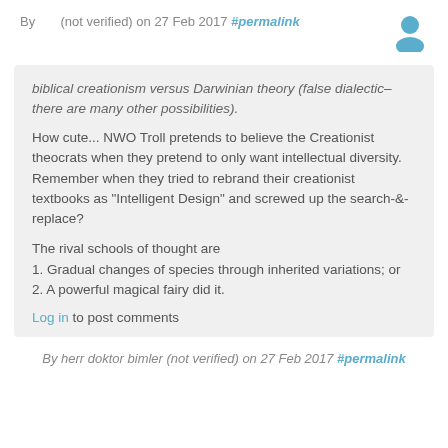By (not verified) on 27 Feb 2017 #permalink
biblical creationism versus Darwinian theory (false dialectic–there are many other possibilities).
How cute... NWO Troll pretends to believe the Creationist theocrats when they pretend to only want intellectual diversity. Remember when they tried to rebrand their creationist textbooks as "Intelligent Design" and screwed up the search-&-replace?
The rival schools of thought are
1. Gradual changes of species through inherited variations; or
2. A powerful magical fairy did it.
Log in to post comments
By herr doktor bimler (not verified) on 27 Feb 2017 #permalink